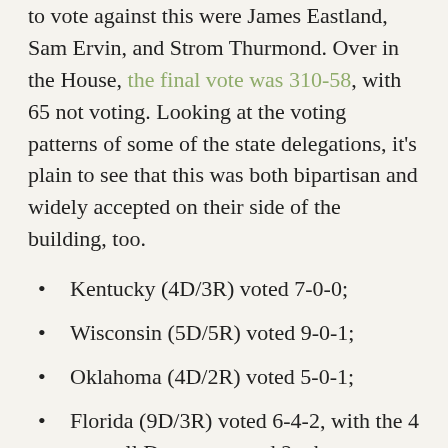to vote against this were James Eastland, Sam Ervin, and Strom Thurmond. Over in the House, the final vote was 310-58, with 65 not voting. Looking at the voting patterns of some of the state delegations, it's plain to see that this was both bipartisan and widely accepted on their side of the building, too.
Kentucky (4D/3R) voted 7-0-0;
Wisconsin (5D/5R) voted 9-0-1;
Oklahoma (4D/2R) voted 5-0-1;
Florida (9D/3R) voted 6-4-2, with the 4 nays all Democrats and 2 who abstained both GOP;
Tennessee (5D/4R) voted 5-1-3 (the 3 included 2 Dems and 1 Republican);
Arkansas (4D/1R) voted 4-0-1 (the 1 was a D);
South Dakota's (2R) voted 1-0-1;